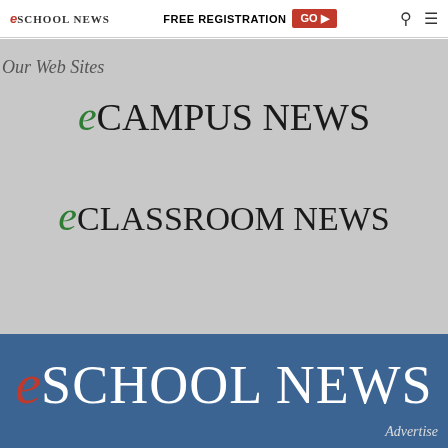eSchool News | FREE REGISTRATION GO ▶
Our Web Sites
[Figure (logo): eCampus News logo with italic green 'e' and serif uppercase text]
[Figure (logo): eClassroom News logo with italic green 'e' and serif uppercase text]
[Figure (logo): eSchool News large logo with red italic 'e' and white serif uppercase text on blue background]
Advertise